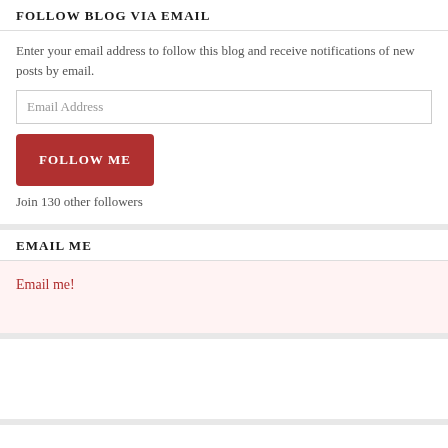FOLLOW BLOG VIA EMAIL
Enter your email address to follow this blog and receive notifications of new posts by email.
Email Address
FOLLOW ME
Join 130 other followers
EMAIL ME
Email me!
VIRGOS RULE